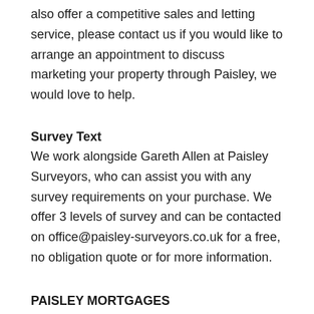also offer a competitive sales and letting service, please contact us if you would like to arrange an appointment to discuss marketing your property through Paisley, we would love to help.
Survey Text
We work alongside Gareth Allen at Paisley Surveyors, who can assist you with any survey requirements on your purchase. We offer 3 levels of survey and can be contacted on office@paisley-surveyors.co.uk for a free, no obligation quote or for more information.
PAISLEY MORTGAGES
Harry Mason at our sister company, Paisley Mortgages, is available to offer clear, honest whole of market mortgage advice. We also run a first time buyer academy to help you prepare in advance for your first mortgage, home-mover and re-mortgage advice. If you would like to speak to